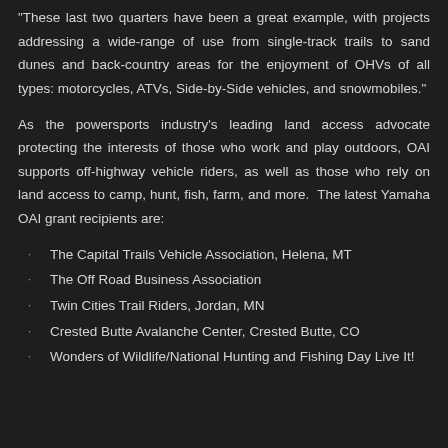"These last two quarters have been a great example, with projects addressing a wide-range of use from single-track trails to sand dunes and back-country areas for the enjoyment of OHVs of all types: motorcycles, ATVs, Side-by-Side vehicles, and snowmobiles."
As the powersports industry's leading land access advocate protecting the interests of those who work and play outdoors, OAI supports off-highway vehicle riders, as well as those who rely on land access to camp, hunt, fish, farm, and more. The latest Yamaha OAI grant recipients are:
The Capital Trails Vehicle Association, Helena, MT
The Off Road Business Association
Twin Cities Trail Riders, Jordan, MN
Crested Butte Avalanche Center, Crested Butte, CO
Wonders of Wildlife/National Hunting and Fishing Day Live It!